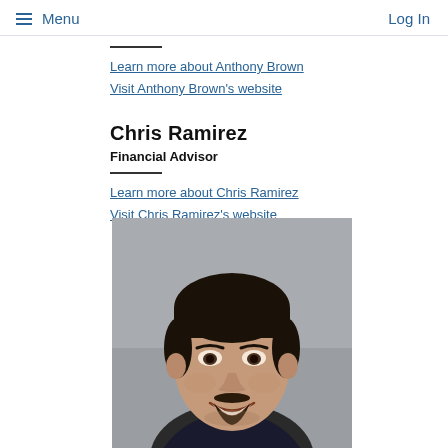Menu  Log In
Learn more about Anthony Brown
Visit Anthony Brown's website
Chris Ramirez
Financial Advisor
Learn more about Chris Ramirez
Visit Chris Ramirez's website
[Figure (photo): Professional headshot of Chris Ramirez, a man with dark hair and a goatee, smiling, wearing a suit, against a grey background.]